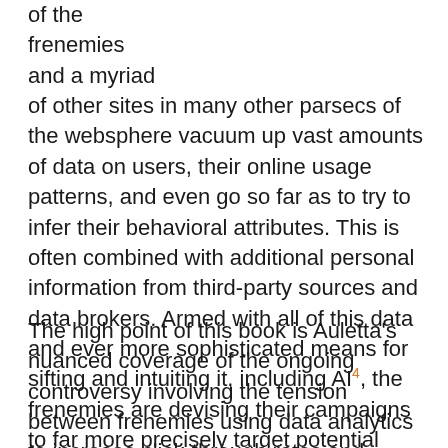of the frenemies and a myriad of other sites in many other parsecs of the websphere vacuum up vast amounts of data on users, their online usage patterns, and even go so far as to try to infer their behavioral attributes. This is often combined with additional personal information from third-party sources and data brokers. Armed with all of this data and ever more sophisticated means for sifting and intuiting it, including AI4, the frenemies are devising their campaigns to far more precisely target potential consumers and their cohorts with finely grained customized ads.
The high point of this book is Auletta's nuanced coverage of the ongoing controversy involving the tension between frenemies using data analytics to increase click-through rates and, hopefully, sales versus respecting the data privacy of people as they traverse the Web. In response to this voracious data collection, millions of users have resisted this